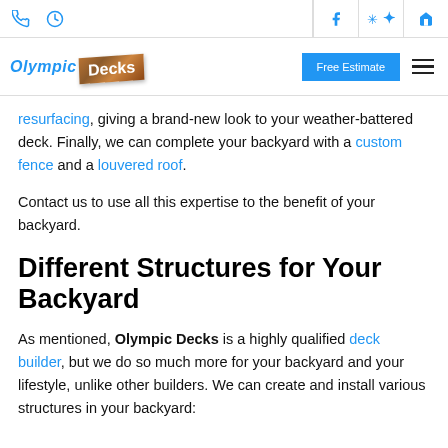Olympic Decks — navigation bar with phone, hours, social icons, Free Estimate button
resurfacing, giving a brand-new look to your weather-battered deck. Finally, we can complete your backyard with a custom fence and a louvered roof.
Contact us to use all this expertise to the benefit of your backyard.
Different Structures for Your Backyard
As mentioned, Olympic Decks is a highly qualified deck builder, but we do so much more for your backyard and your lifestyle, unlike other builders. We can create and install various structures in your backyard: